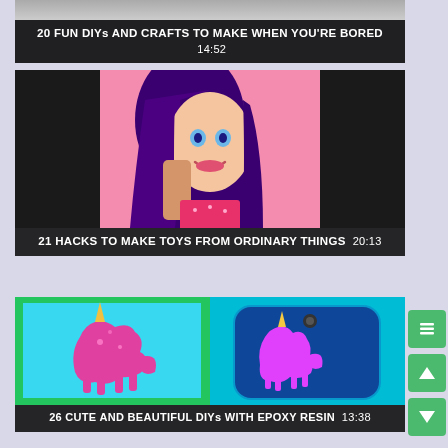[Figure (screenshot): Video thumbnail (partial) - 20 FUN DIYs AND CRAFTS TO MAKE WHEN YOU'RE BORED, duration 14:52]
[Figure (screenshot): Video thumbnail - 21 HACKS TO MAKE TOYS FROM ORDINARY THINGS, duration 20:13. Shows a Barbie doll with purple hair on pink background.]
[Figure (screenshot): Video thumbnail - 26 CUTE AND BEAUTIFUL DIYs WITH EPOXY RESIN, duration 13:38. Shows two unicorn glitter artworks/phone cases.]
[Figure (screenshot): Video thumbnail (partial, bottom) - partially visible, shows colorful rainbow and person.]